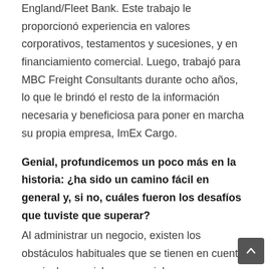England/Fleet Bank. Este trabajo le proporcionó experiencia en valores corporativos, testamentos y sucesiones, y en financiamiento comercial. Luego, trabajó para MBC Freight Consultants durante ocho años, lo que le brindó el resto de la información necesaria y beneficiosa para poner en marcha su propia empresa, ImEx Cargo.
Genial, profundicemos un poco más en la historia: ¿ha sido un camino fácil en general y, si no, cuáles fueron los desafíos que tuviste que superar?
Al administrar un negocio, existen los obstáculos habituales que se tienen en cuenta, que incluyen: ciclos comerciales y económicos, competir con otras empresas y emular los logros de las empresas multinacionales. Sin embargo, se está tomando en serio un desafío específico para ImEx Cargo debido a que la empresa está dirigida por una mujer. Esta profesión está